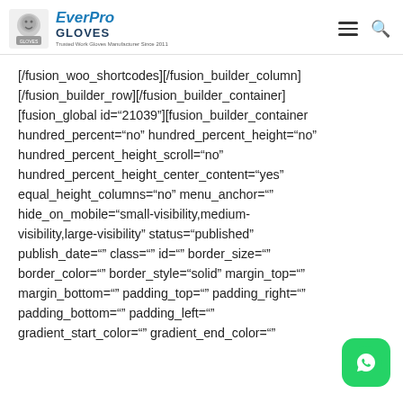EverPro GLOVES
[/fusion_woo_shortcodes][/fusion_builder_column][/fusion_builder_row][/fusion_builder_container][fusion_global id="21039"][fusion_builder_container hundred_percent="no" hundred_percent_height="no" hundred_percent_height_scroll="no" hundred_percent_height_center_content="yes" equal_height_columns="no" menu_anchor="" hide_on_mobile="small-visibility,medium-visibility,large-visibility" status="published" publish_date="" class="" id="" border_size="" border_color="" border_style="solid" margin_top="" margin_bottom="" padding_top="" padding_right="" padding_bottom="" padding_left="" gradient_start_color="" gradient_end_color=""